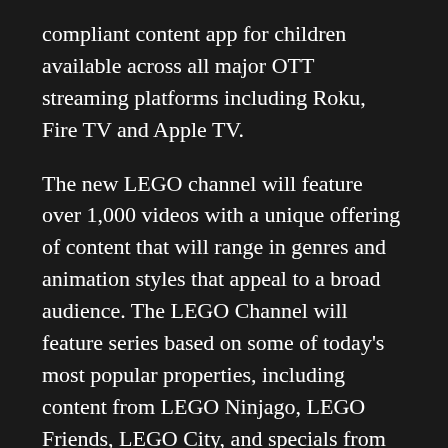compliant content app for children available across all major OTT streaming platforms including Roku, Fire TV and Apple TV.
The new LEGO channel will feature over 1,000 videos with a unique offering of content that will range in genres and animation styles that appeal to a broad audience. The LEGO Channel will feature series based on some of today's most popular properties, including content from LEGO Ninjago, LEGO Friends, LEGO City, and specials from franchises such as LEGO Jurassic World™, LEGO MARVEL®, and other LEGO favorites. Fans will also be able to discover exciting content such as LEGO Designer Set Reviews which draw fans into the